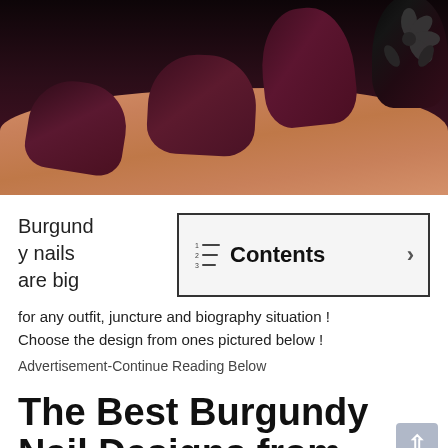[Figure (photo): Close-up photo of a hand with dark burgundy/maroon nail polish. One nail features a dark black decorative floral design. The nails are square-shaped with rounded tips.]
Burgundy nails are big for any outfit, juncture and biography situation ! Choose the design from ones pictured below ! Advertisement-Continue Reading Below
Contents
The Best Burgundy Nail Designs from